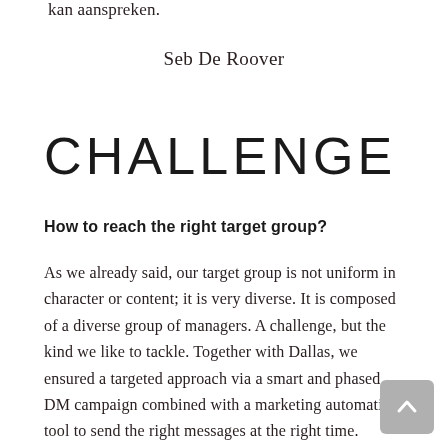kan aanspreken.
Seb De Roover
CHALLENGE
How to reach the right target group?
As we already said, our target group is not uniform in character or content; it is very diverse. It is composed of a diverse group of managers. A challenge, but the kind we like to tackle. Together with Dallas, we ensured a targeted approach via a smart and phased DM campaign combined with a marketing automation tool to send the right messages at the right time.